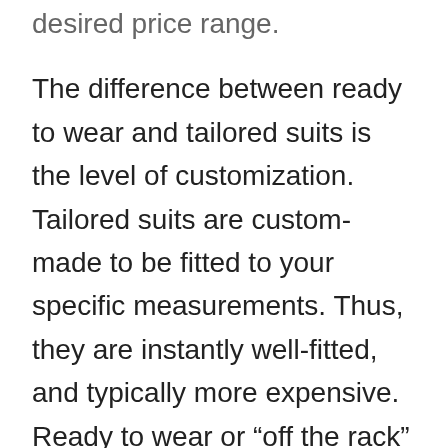desired price range.
The difference between ready to wear and tailored suits is the level of customization. Tailored suits are custom-made to be fitted to your specific measurements. Thus, they are instantly well-fitted, and typically more expensive. Ready to wear or “off the rack” suits are pre-made and mass-produced in generic sizes and don’t have a customized fit.
When it comes to suits, the most important aspect is the fit. An ill-fitted suit of the finest quality materials will never look as good as a